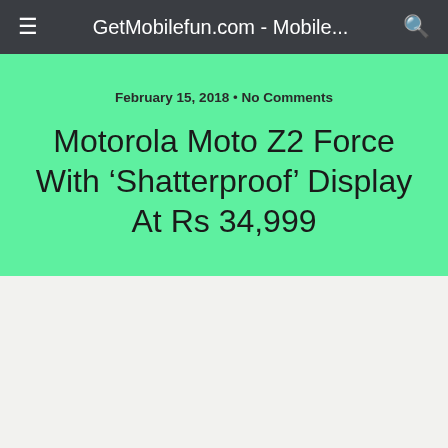≡  GetMobilefun.com - Mobile...  🔍
February 15, 2018 • No Comments
Motorola Moto Z2 Force With 'Shatterproof' Display At Rs 34,999